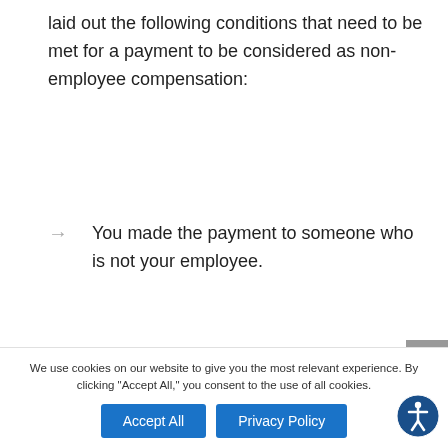laid out the following conditions that need to be met for a payment to be considered as non-employee compensation:
You made the payment to someone who is not your employee.
You made the payment for services
We use cookies on our website to give you the most relevant experience. By clicking “Accept All,” you consent to the use of all cookies.